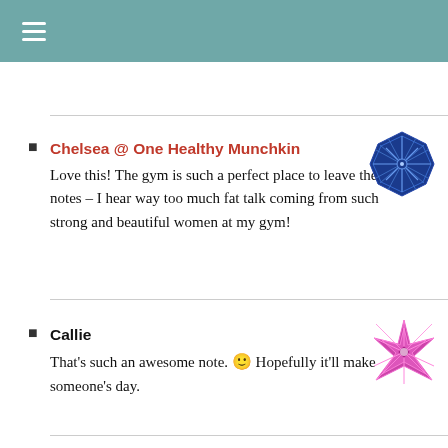≡
Chelsea @ One Healthy Munchkin
Love this! The gym is such a perfect place to leave these notes – I hear way too much fat talk coming from such strong and beautiful women at my gym!
[Figure (illustration): Blue octagonal decorative avatar icon with geometric cross-hatch pattern]
Callie
That's such an awesome note. 🙂 Hopefully it'll make someone's day.
[Figure (illustration): Pink/magenta decorative avatar icon with geometric star/diamond pattern]